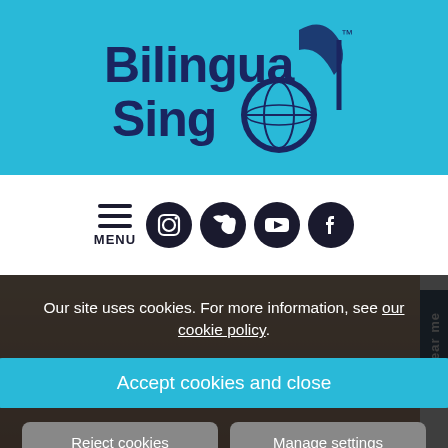[Figure (logo): Bilingua Sing logo: bold dark navy text 'Bilingua Sing' with a musical note and globe graphic, on a light blue background]
[Figure (screenshot): Navigation bar with hamburger menu labeled MENU and four social media icons: Instagram, Twitter, YouTube, Facebook]
Our site uses cookies. For more information, see our cookie policy.
Accept cookies and close
Reject cookies
Manage settings